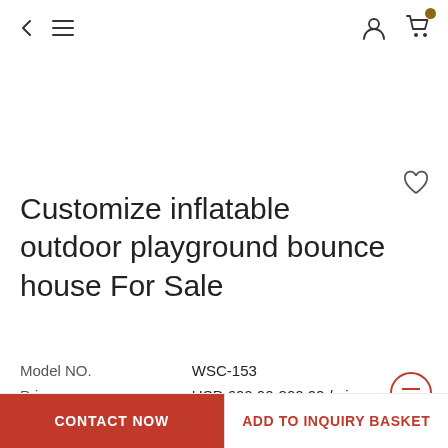< ≡  [user icon] [cart icon]
Customize inflatable outdoor playground bounce house For Sale
|  |  |
| --- | --- |
| Model NO. | WSC-153 |
| Price: | USD 600.00-800.00 / piece |
| Delivery: | FOB |
| Minimum order quantity: | 1 piece |